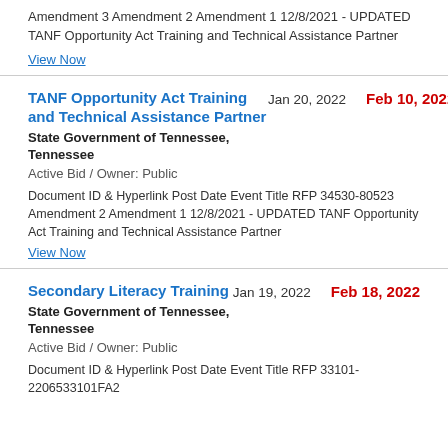Amendment 3 Amendment 2 Amendment 1 12/8/2021 - UPDATED TANF Opportunity Act Training and Technical Assistance Partner
View Now
TANF Opportunity Act Training and Technical Assistance Partner
Jan 20, 2022
Feb 10, 2022
State Government of Tennessee, Tennessee
Active Bid / Owner: Public
Document ID & Hyperlink Post Date Event Title RFP 34530-80523 Amendment 2 Amendment 1 12/8/2021 - UPDATED TANF Opportunity Act Training and Technical Assistance Partner
View Now
Secondary Literacy Training
Jan 19, 2022
Feb 18, 2022
State Government of Tennessee, Tennessee
Active Bid / Owner: Public
Document ID & Hyperlink Post Date Event Title RFP 33101-2206533101FA2